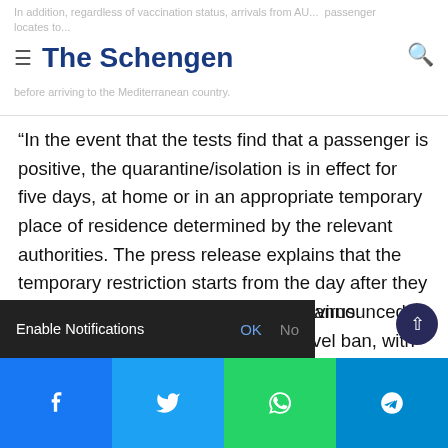The Schengen
In addition, regardless of vaccination status, arrivals from AU... passenger locates to... before arriving to the Mediterranean country.
“In the event that the tests find that a passenger is positive, the quarantine/isolation is in effect for five days, at home or in an appropriate temporary place of residence determined by the relevant authorities. The press release explains that the temporary restriction starts from the day after they are diagnosed as positive for coronavirus. COVID-19.
The Australian government recently announced that it will end its nearly two-year travel ban, with the measure taking effect on February 21. This means that all EU citizens can travel to Australia if they are fully vaccinated with one of the 10 a...